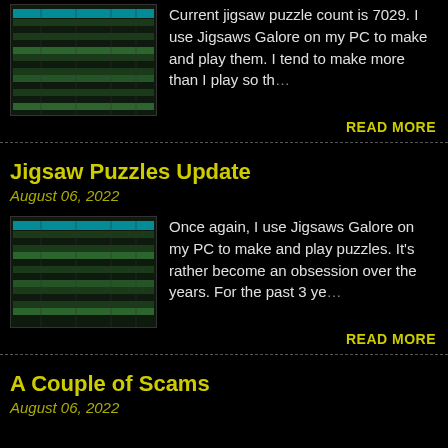[Figure (screenshot): Thumbnail screenshot of a spreadsheet/table with green and blue highlighted rows on dark background]
Current jigsaw puzzle count is 7029. I use Jigsaws Galore on my PC to make and play them. I tend to make more than I play so th…
READ MORE
Jigsaw Puzzles Update
August 06, 2022
[Figure (screenshot): Thumbnail screenshot of a spreadsheet/table with green and blue highlighted rows on dark background]
Once again, I use Jigsaws Galore on my PC to make and play puzzles. It's rather become an obsession over the years. For the past 3 ye…
READ MORE
A Couple of Scams
August 06, 2022